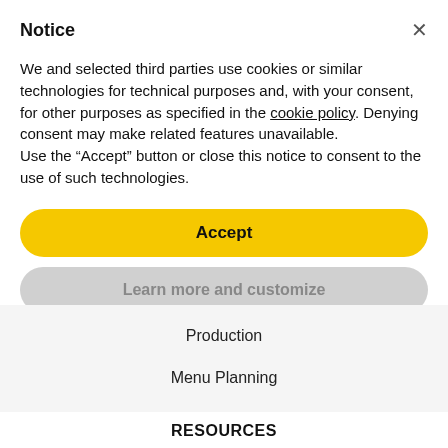Notice
We and selected third parties use cookies or similar technologies for technical purposes and, with your consent, for other purposes as specified in the cookie policy. Denying consent may make related features unavailable.
Use the “Accept” button or close this notice to consent to the use of such technologies.
Accept
Learn more and customize
Production
Menu Planning
Insights Hub
RESOURCES